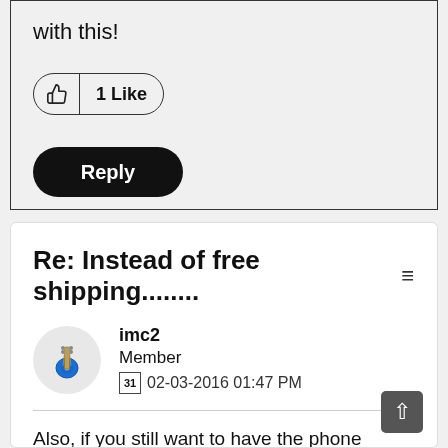with this!
[Figure (illustration): A like button showing thumbs up icon and '1 Like' text in a pill-shaped border]
[Figure (illustration): A black rounded Reply button]
Re: Instead of free shipping........
[Figure (illustration): User avatar with blue guitar icon]
imc2
Member
02-03-2016 01:47 PM
Also, if you still want to have the phone shipped instead of picking up one from the store (for example, if there is a promotion that is only